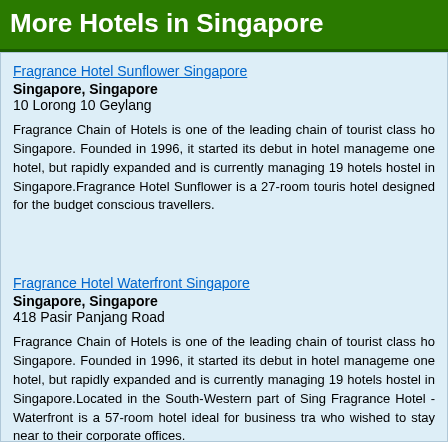More Hotels in Singapore
Fragrance Hotel Sunflower Singapore
Singapore, Singapore
10 Lorong 10 Geylang

Fragrance Chain of Hotels is one of the leading chain of tourist class hotels in Singapore. Founded in 1996, it started its debut in hotel management with one hotel, but rapidly expanded and is currently managing 19 hotels and one hostel in Singapore.Fragrance Hotel Sunflower is a 27-room tourist hotel designed for the budget conscious travellers.
Fragrance Hotel Waterfront Singapore
Singapore, Singapore
418 Pasir Panjang Road

Fragrance Chain of Hotels is one of the leading chain of tourist class hotels in Singapore. Founded in 1996, it started its debut in hotel management with one hotel, but rapidly expanded and is currently managing 19 hotels and one hostel in Singapore.Located in the South-Western part of Singapore, Fragrance Hotel - Waterfront is a 57-room hotel ideal for business travellers who wished to stay near to their corporate offices.